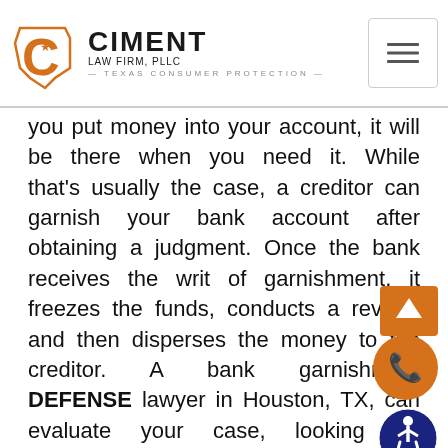Ciment Law Firm, PLLC — Texas Consumer Protection
you put money into your account, it will be there when you need it. While that's usually the case, a creditor can garnish your bank account after obtaining a judgment. Once the bank receives the writ of garnishment, it freezes the funds, conducts a review, and then disperses the money to the creditor. A bank garnishment DEFENSE lawyer in Houston, TX, can evaluate your case, looking for mistakes that led to the judgment. The Ciment Law Firm has already returned tens of thousands of dollars to clients after a bank garnishment and can help you contest the judgment.